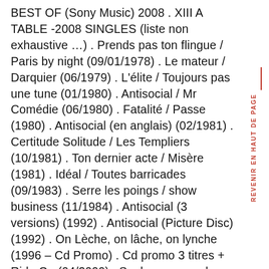BEST OF (Sony Music) 2008 . XIII A TABLE -2008 SINGLES (liste non exhaustive …) . Prends pas ton flingue / Paris by night (09/01/1978) . Le mateur / Darquier (06/1979) . L'élite / Toujours pas une tune (01/1980) . Antisocial / Mr Comédie (06/1980) . Fatalité / Passe (1980) . Antisocial (en anglais) (02/1981) . Certitude Solitude / Les Templiers (10/1981) . Ton dernier acte / Misère (1981) . Idéal / Toutes barricades (09/1983) . Serre les poings / show business (11/1984) . Antisocial (3 versions) (1992) . Antisocial (Picture Disc) (1992) . On Lèche, on lâche, on lynche (1996 – Cd Promo) . Cd promo 3 titres + Ride On (04/2000) . Soulagez-vous dans les urnes (2006) . Sarkoland (2006) Avec Johnny HALLYDAY : " Gang " (Philips) 1986 : "
REVENIR EN HAUT DE PAGE